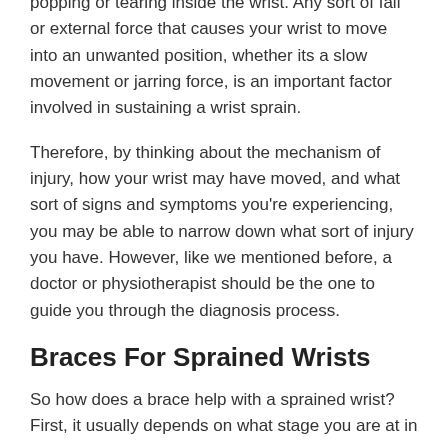popping or tearing inside the wrist. Any sort of fall or external force that causes your wrist to move into an unwanted position, whether its a slow movement or jarring force, is an important factor involved in sustaining a wrist sprain.
Therefore, by thinking about the mechanism of injury, how your wrist may have moved, and what sort of signs and symptoms you're experiencing, you may be able to narrow down what sort of injury you have. However, like we mentioned before, a doctor or physiotherapist should be the one to guide you through the diagnosis process.
Braces For Sprained Wrists
So how does a brace help with a sprained wrist? First, it usually depends on what stage you are at in recovery